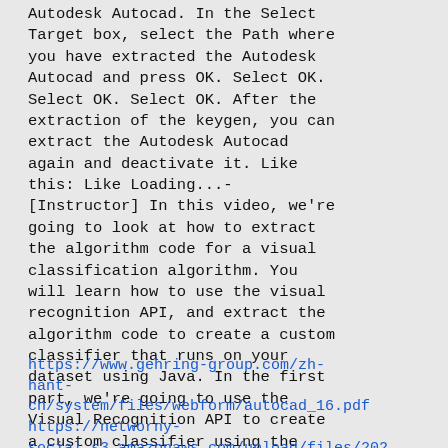Autodesk Autocad. In the Select Target box, select the Path where you have extracted the Autodesk Autocad and press OK. Select OK. Select OK. Select OK. After the extraction of the keygen, you can extract the Autodesk Autocad again and deactivate it. Like this: Like Loading...- [Instructor] In this video, we're going to look at how to extract the algorithm code for a visual classification algorithm. You will learn how to use the visual recognition API, and extract the algorithm code to create a custom classifier that runs on your dataset using Java. In the first part, we're going to use the Visual Recognition API to create a custom classifier using the code provided. We'll use Java to run that custom classifier. In the second part, we're going to use the Algorithm API to extract the algorithm
https://www.gehring-group.com/zh-hant-cn/system/files/webform/autocad_16.pdf https://networny-social.s3.amazonaws.com/upload/files/2022/06/AJDjq06eLd9P1uuJSTK5_17_071731 9dedfd5b27021eac817de/ldb1f_file.pdf